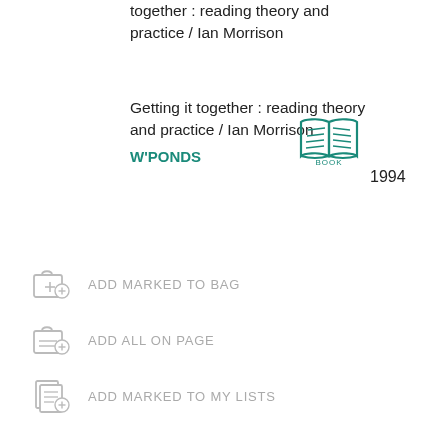together : reading theory and practice / Ian Morrison
Getting it together : reading theory and practice / Ian Morrison
W'PONDS
[Figure (illustration): Teal open book icon with text 'BOOK' below]
1994
ADD MARKED TO BAG
ADD ALL ON PAGE
ADD MARKED TO MY LISTS